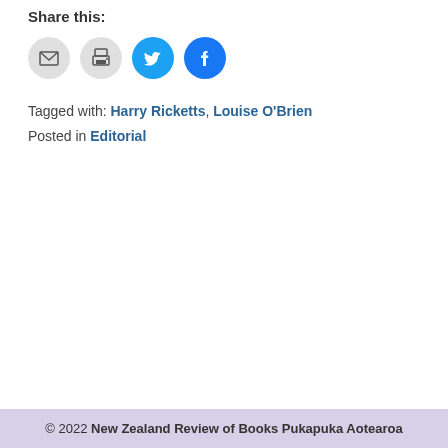Share this:
[Figure (other): Social sharing icons: email (grey circle), print (grey circle), Twitter (blue circle with bird), Facebook (blue circle with f)]
Tagged with: Harry Ricketts, Louise O'Brien
Posted in Editorial
© 2022 New Zealand Review of Books Pukapuka Aotearoa